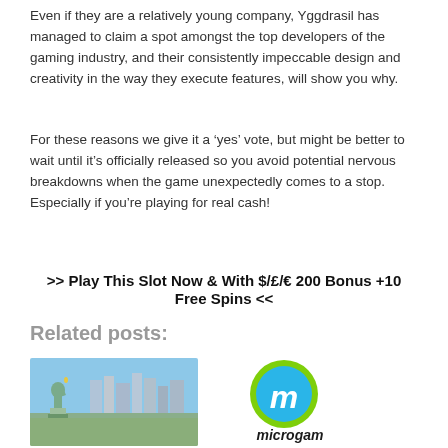Even if they are a relatively young company, Yggdrasil has managed to claim a spot amongst the top developers of the gaming industry, and their consistently impeccable design and creativity in the way they execute features, will show you why.
For these reasons we give it a ‘yes’ vote, but might be better to wait until it’s officially released so you avoid potential nervous breakdowns when the game unexpectedly comes to a stop. Especially if you’re playing for real cash!
>> Play This Slot Now & With $/£/€ 200 Bonus +10 Free Spins <<
Related posts:
[Figure (photo): Photo of the Statue of Liberty with New York City skyline in the background]
[Figure (logo): Microgaming logo: blue circular icon with white stylized M letter, green ring border, with text 'microgam' below]